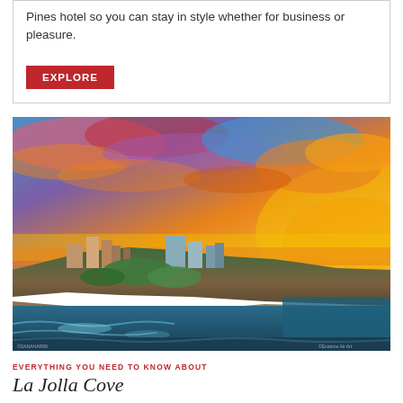Pines hotel so you can stay in style whether for business or pleasure.
EXPLORE
[Figure (photo): Aerial sunset photograph of La Jolla Cove coastal area, showing rocky cliffs, ocean, cityscape, and dramatic colorful sky with orange, pink, and blue clouds.]
EVERYTHING YOU NEED TO KNOW ABOUT
La Jolla Cove